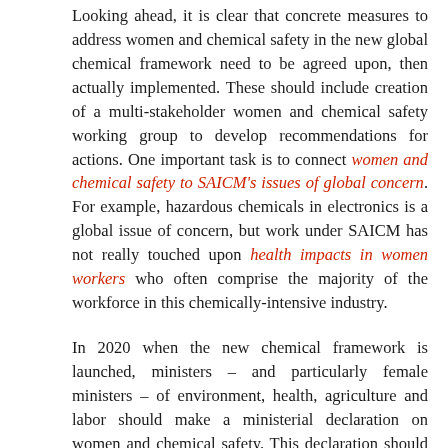Looking ahead, it is clear that concrete measures to address women and chemical safety in the new global chemical framework need to be agreed upon, then actually implemented. These should include creation of a multi-stakeholder women and chemical safety working group to develop recommendations for actions. One important task is to connect women and chemical safety to SAICM's issues of global concern. For example, hazardous chemicals in electronics is a global issue of concern, but work under SAICM has not really touched upon health impacts in women workers who often comprise the majority of the workforce in this chemically-intensive industry.
In 2020 when the new chemical framework is launched, ministers – and particularly female ministers – of environment, health, agriculture and labor should make a ministerial declaration on women and chemical safety. This declaration should commit governments to specific actions and affirm the right to safe food, and health and sustainable industry.